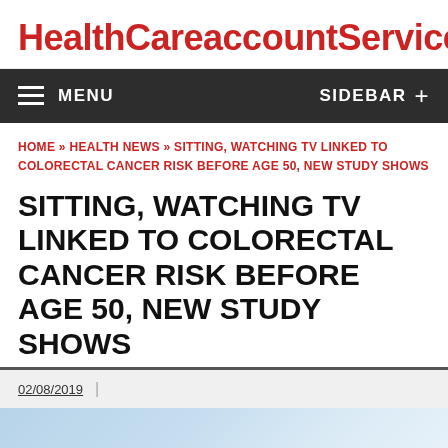HealthCareaccountServices
MENU  SIDEBAR +
HOME » HEALTH NEWS » SITTING, WATCHING TV LINKED TO COLORECTAL CANCER RISK BEFORE AGE 50, NEW STUDY SHOWS
SITTING, WATCHING TV LINKED TO COLORECTAL CANCER RISK BEFORE AGE 50, NEW STUDY SHOWS
02/08/2019
[Figure (photo): Partial photograph visible at bottom of page, light blue tones, cropped]